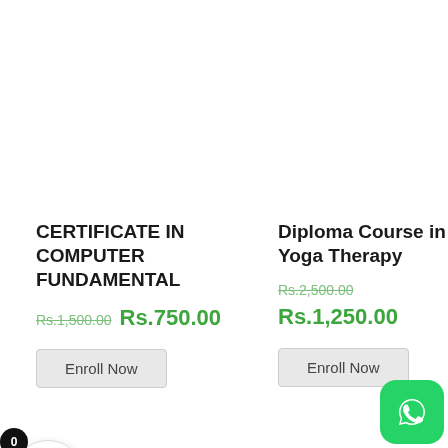CERTIFICATE IN COMPUTER FUNDAMENTAL
Rs.1,500.00 Rs.750.00
Enroll Now
Diploma Course in Yoga Therapy
Rs.2,500.00
Rs.1,250.00
Enroll Now